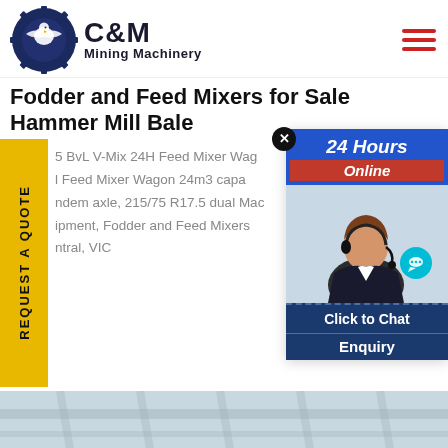[Figure (logo): C&M Mining Machinery logo with eagle/gear emblem and text]
Fodder and Feed Mixers for Sale Hammer Mill Bale
5 BvL V-Mix 24H Feed Mixer Wago
d Feed Mixer Wagon 24m3 capa
dem axle, 215/75 R17.5 dual Mac
ipment, Fodder and Feed Mixers
ntral, VIC
[Figure (screenshot): 24 Hours Online chat popup with customer service representative photo, Click to Chat button, and Enquiry section]